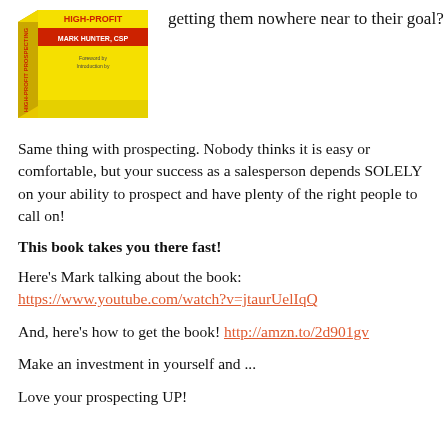[Figure (illustration): Book cover image of 'High-Profit Prospecting' by Mark Hunter, CSP - yellow and white book cover]
getting them nowhere near to their goal?
Same thing with prospecting. Nobody thinks it is easy or comfortable, but your success as a salesperson depends SOLELY on your ability to prospect and have plenty of the right people to call on!
This book takes you there fast!
Here's Mark talking about the book:
https://www.youtube.com/watch?v=jtaurUelIqQ
And, here's how to get the book! http://amzn.to/2d901gv
Make an investment in yourself and ...
Love your prospecting UP!